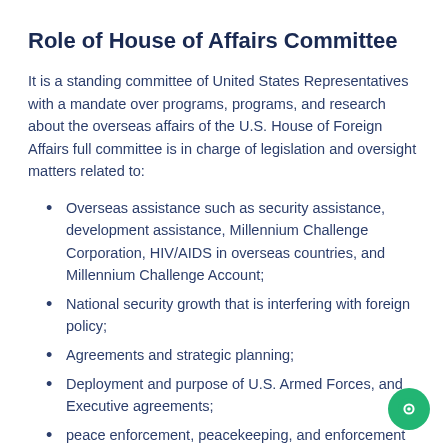Role of House of Affairs Committee
It is a standing committee of United States Representatives with a mandate over programs, programs, and research about the overseas affairs of the U.S. House of Foreign Affairs full committee is in charge of legislation and oversight matters related to:
Overseas assistance such as security assistance, development assistance, Millennium Challenge Corporation, HIV/AIDS in overseas countries, and Millennium Challenge Account;
National security growth that is interfering with foreign policy;
Agreements and strategic planning;
Deployment and purpose of U.S. Armed Forces, and Executive agreements;
peace enforcement, peacekeeping, and enforcement of United States sanctions;
The United States intervention for global growth and the global growth finance Organization